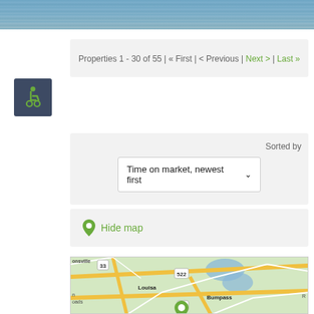[Figure (photo): Header photo showing a water/lake scene with muted blue-grey tones]
[Figure (illustration): Accessibility (wheelchair) icon in green on dark blue-grey square background]
Properties 1 - 30 of 55 | « First | < Previous | Next > | Last »
Sorted by
Time on market, newest first
Hide map
[Figure (map): Google-style road map showing Louisa, Bumpass, and surrounding area in Virginia with routes 33 and 522 marked]